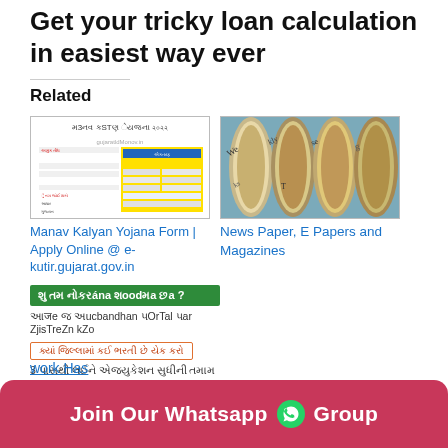Get your tricky loan calculation in easiest way ever
Related
[Figure (screenshot): Screenshot of Manav Kalyan Yojana 2022 Gujarati document with yellow table]
Manav Kalyan Yojana Form | Apply Online @ e-kutir.gujarat.gov.in
[Figure (photo): Photo of rolled-up newspapers and magazines]
News Paper, E Papers and Magazines
[Figure (infographic): Gujarati job search infographic with green header bar, registration text, orange district button, and education info]
work Has
Join Our Whatsapp Group